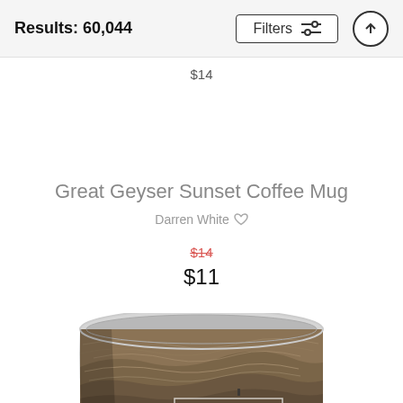Results: 60,044
$14
Great Geyser Sunset Coffee Mug
Darren White
$14
$11
[Figure (photo): Coffee mug with a landscape/sunset image of Great Geyser printed on it, shown from above at an angle revealing the inside rim and the printed design on the outside.]